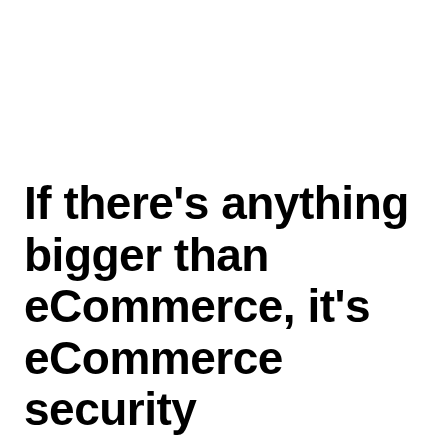If there's anything bigger than eCommerce, it's eCommerce security